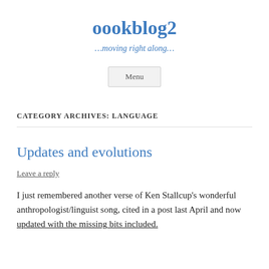oookblog2
…moving right along…
Menu
CATEGORY ARCHIVES: LANGUAGE
Updates and evolutions
Leave a reply
I just remembered another verse of Ken Stallcup's wonderful anthropologist/linguist song, cited in a post last April and now updated with the missing bits included.